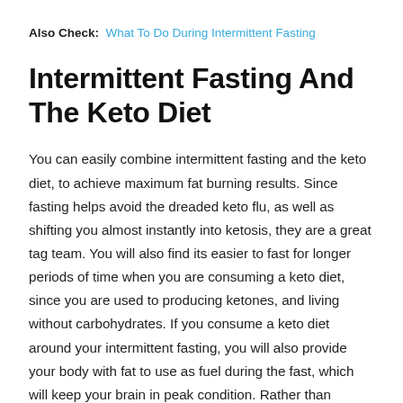Also Check: What To Do During Intermittent Fasting
Intermittent Fasting And The Keto Diet
You can easily combine intermittent fasting and the keto diet, to achieve maximum fat burning results. Since fasting helps avoid the dreaded keto flu, as well as shifting you almost instantly into ketosis, they are a great tag team. You will also find its easier to fast for longer periods of time when you are consuming a keto diet, since you are used to producing ketones, and living without carbohydrates. If you consume a keto diet around your intermittent fasting, you will also provide your body with fat to use as fuel during the fast, which will keep your brain in peak condition. Rather than